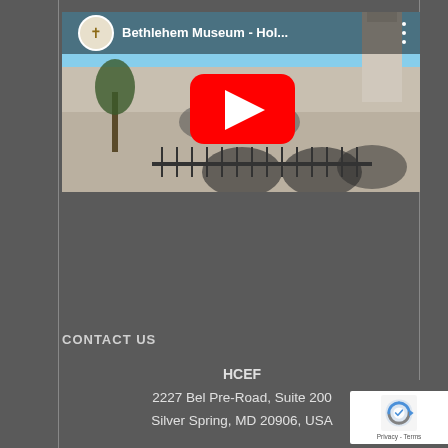[Figure (screenshot): YouTube video thumbnail showing 'Bethlehem Museum - Hol...' with a large red play button overlay and a circular channel icon in the top-left corner. The video thumbnail shows a stone building with arched colonnades.]
CONTACT US
HCEF
2227 Bel Pre-Road, Suite 200
Silver Spring, MD 20906, USA

Phone: +1 301 951 9400
[Figure (logo): reCAPTCHA badge with logo and Privacy - Terms text]